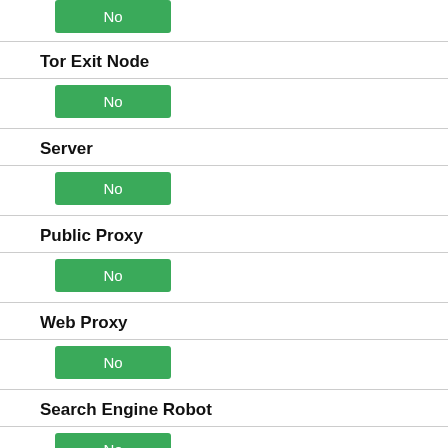No
Tor Exit Node
No
Server
No
Public Proxy
No
Web Proxy
No
Search Engine Robot
No